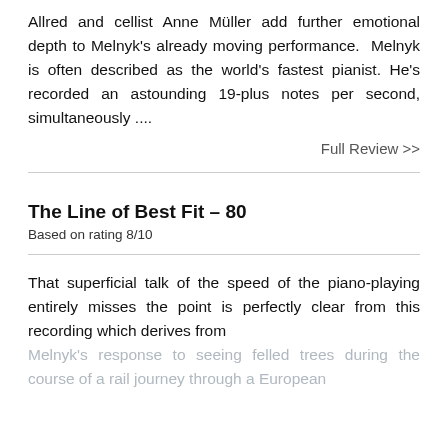Allred and cellist Anne Müller add further emotional depth to Melnyk's already moving performance.  Melnyk is often described as the world's fastest pianist. He's recorded an astounding 19-plus notes per second, simultaneously ....
Full Review >>
The Line of Best Fit - 80
Based on rating 8/10
That superficial talk of the speed of the piano-playing entirely misses the point is perfectly clear from this recording which derives from Melnyk's response to seeing felled trees during the course of a rail journey through a European